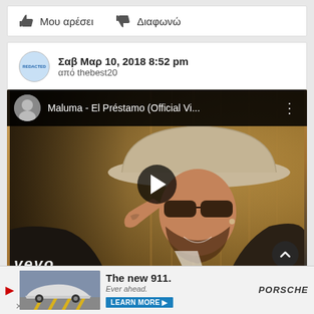Μου αρέσει   Διαφωνώ
Σαβ Μαρ 10, 2018 8:52 pm
από thebest20
[Figure (screenshot): YouTube video embed showing 'Maluma - El Préstamo (Official Vi...' with a man wearing a hat and sunglasses, a play button overlay, and VEVO logo at bottom left]
[Figure (photo): Porsche advertisement: The new 911. Ever ahead. LEARN MORE button, with image of a Porsche 911 on a road with yellow chevron road markings]